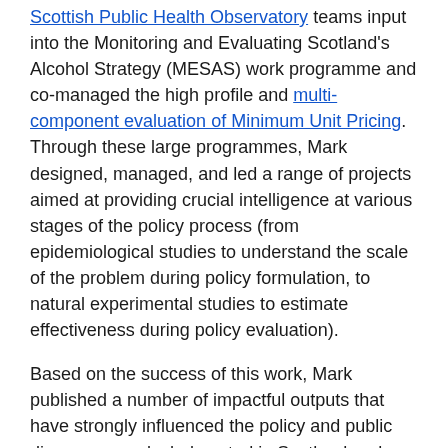Scottish Public Health Observatory teams input into the Monitoring and Evaluating Scotland's Alcohol Strategy (MESAS) work programme and co-managed the high profile and multi-component evaluation of Minimum Unit Pricing. Through these large programmes, Mark designed, managed, and led a range of projects aimed at providing crucial intelligence at various stages of the policy process (from epidemiological studies to understand the scale of the problem during policy formulation, to natural experimental studies to estimate effectiveness during policy evaluation).
Based on the success of this work, Mark published a number of impactful outputs that have strongly influenced the policy and public discourse on alcohol control in Scotland and beyond. His research was cited in the UK Supreme Court Judgment that Minimum Unit Pricing was a legal and proportionate response to Scotland's problematic relationship with alcohol.